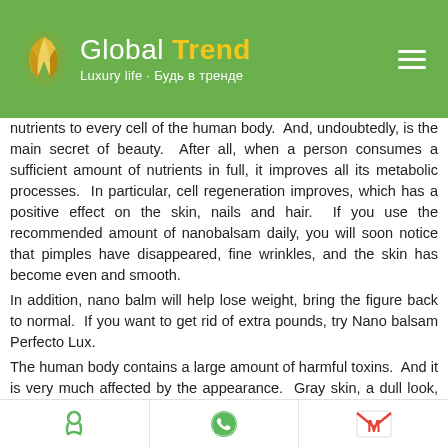Global Trend — Luxury life · Будь в тренде
nutrients to every cell of the human body.  And, undoubtedly, is the main secret of beauty.  After all, when a person consumes a sufficient amount of nutrients in full, it improves all its metabolic processes.  In particular, cell regeneration improves, which has a positive effect on the skin, nails and hair.  If you use the recommended amount of nanobalsam daily, you will soon notice that pimples have disappeared, fine wrinkles, and the skin has become even and smooth.
In addition, nano balm will help lose weight, bring the figure back to normal.  If you want to get rid of extra pounds, try Nano balsam Perfecto Lux.
The human body contains a large amount of harmful toxins.  And it is very much affected by the appearance.  Gray skin, a dull look, bags under the eyes - all this can appear only
[phone icon] [whatsapp icon] [gmail icon]